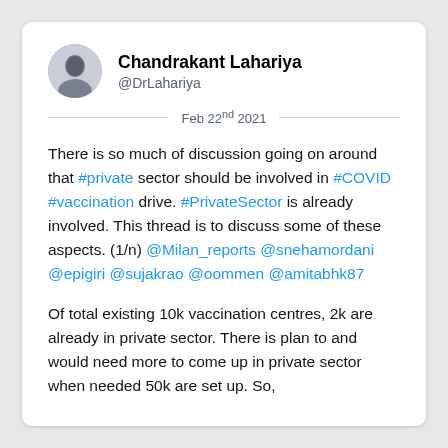Chandrakant Lahariya
@DrLahariya
Feb 22nd 2021
There is so much of discussion going on around that #private sector should be involved in #COVID #vaccination drive. #PrivateSector is already involved. This thread is to discuss some of these aspects. (1/n) @Milan_reports @snehamordani @epigiri @sujakrao @oommen @amitabhk87
Of total existing 10k vaccination centres, 2k are already in private sector. There is plan to and would need more to come up in private sector when needed 50k are set up. So,
Read 16 tweets